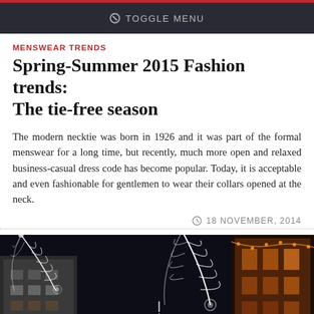TOGGLE MENU
MENSWEAR TRENDS
Spring-Summer 2015 Fashion trends: The tie-free season
The modern necktie was born in 1926 and it was part of the formal menswear for a long time, but recently, much more open and relaxed business-casual dress code has become popular. Today, it is acceptable and even fashionable for gentlemen to wear their collars opened at the neck.
18 NOVEMBER, 2014
[Figure (photo): Night street scene with decorative light installations including glowing white feather/peacock designs and a chandelier-like light fixture hanging above a street lined with buildings lit in warm orange light.]